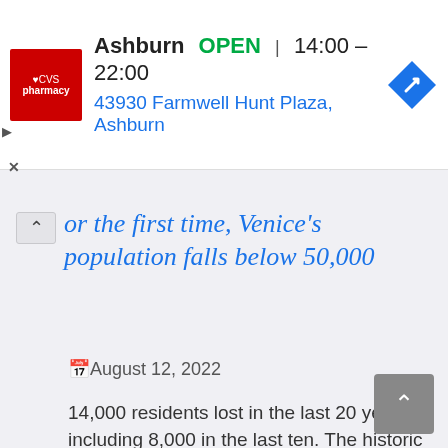[Figure (screenshot): CVS Pharmacy advertisement banner showing Ashburn location with OPEN status 14:00–22:00 and address 43930 Farmwell Hunt Plaza, Ashburn. Includes CVS red logo and blue navigation arrow icon.]
or the first time, Venice's population falls below 50,000
August 12, 2022
14,000 residents lost in the last 20 years, including 8,000 in the last ten. The historic ce…